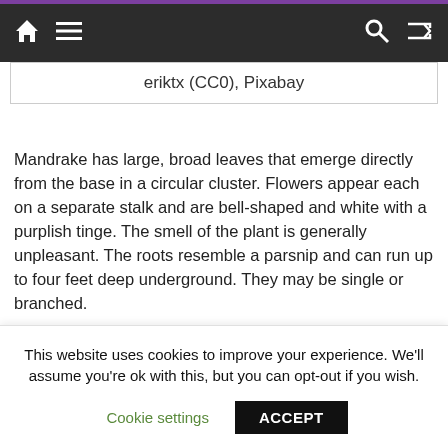Navigation bar with home, menu, search, and shuffle icons
eriktx (CC0), Pixabay
Mandrake has large, broad leaves that emerge directly from the base in a circular cluster. Flowers appear each on a separate stalk and are bell-shaped and white with a purplish tinge. The smell of the plant is generally unpleasant. The roots resemble a parsnip and can run up to four feet deep underground. They may be single or branched.
This website uses cookies to improve your experience. We'll assume you're ok with this, but you can opt-out if you wish. Cookie settings ACCEPT